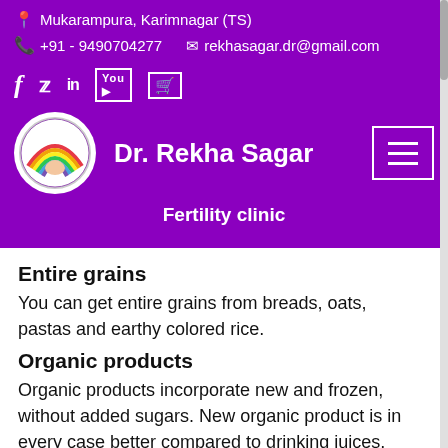Mukarampura, Karimnagar (TS)
+91 - 9490704277  rekhasagar.dr@gmail.com
Dr. Rekha Sagar — Fertility clinic
Entire grains
You can get entire grains from breads, oats, pastas and earthy colored rice.
Organic products
Organic products incorporate new and frozen, without added sugars. New organic product is in every case better compared to drinking juices, which have added sugar.
Vegetables
Veggies ought to incorporate beautifu